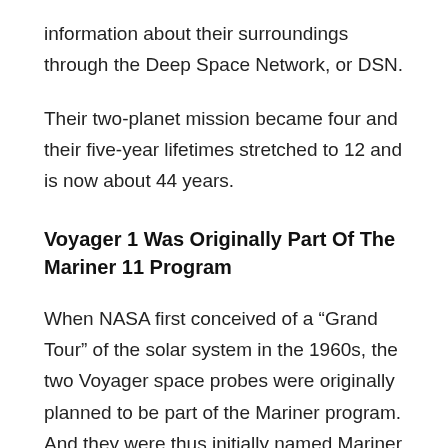information about their surroundings through the Deep Space Network, or DSN.
Their two-planet mission became four and their five-year lifetimes stretched to 12 and is now about 44 years.
Voyager 1 Was Originally Part Of The Mariner 11 Program
When NASA first conceived of a “Grand Tour” of the solar system in the 1960s, the two Voyager space probes were originally planned to be part of the Mariner program. And they were thus initially named Mariner 11 and Mariner 12.